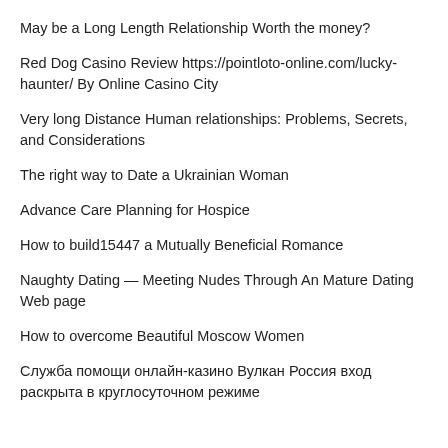May be a Long Length Relationship Worth the money?
Red Dog Casino Review https://pointloto-online.com/lucky-haunter/ By Online Casino City
Very long Distance Human relationships: Problems, Secrets, and Considerations
The right way to Date a Ukrainian Woman
Advance Care Planning for Hospice
How to build15447 a Mutually Beneficial Romance
Naughty Dating — Meeting Nudes Through An Mature Dating Web page
How to overcome Beautiful Moscow Women
Служба помощи онлайн-казино Вулкан Россия вход раскрыта в круглосуточном режиме